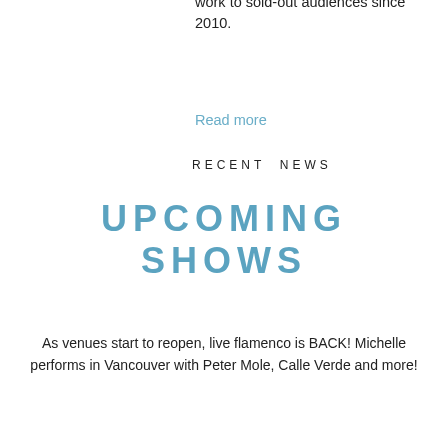work to sold-out audiences since 2010.
Read more
RECENT NEWS
UPCOMING SHOWS
As venues start to reopen, live flamenco is BACK! Michelle performs in Vancouver with Peter Mole, Calle Verde and more!
Read more
GIVE THE GIFT OF DANCE!